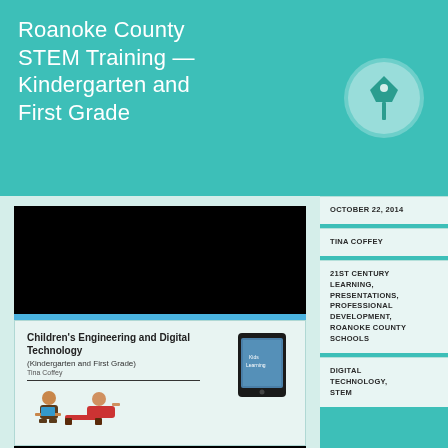Roanoke County STEM Training — Kindergarten and First Grade
[Figure (screenshot): Black video/slide thumbnail block]
[Figure (screenshot): Slide preview: Children's Engineering and Digital Technology (Kindergarten and First Grade) by Tina Coffey, with illustration of children using devices and a tablet image]
[Figure (photo): Black image block (second video thumbnail)]
OCTOBER 22, 2014
TINA COFFEY
21ST CENTURY LEARNING, PRESENTATIONS, PROFESSIONAL DEVELOPMENT, ROANOKE COUNTY SCHOOLS
DIGITAL TECHNOLOGY, STEM